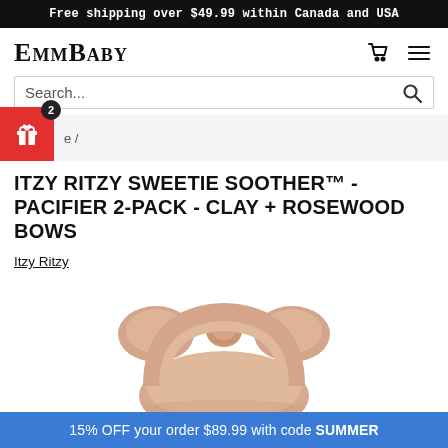Free shipping over $49.99 within Canada and USA
EmmBaby
Search...
/
ITZY RITZY SWEETIE SOOTHER™ - PACIFIER 2-PACK - CLAY + ROSEWOOD BOWS
Itzy Ritzy
[Figure (photo): Close-up of a rosewood/clay colored pacifier bow shield, top portion visible against white background]
15% OFF your order $89.99 with code SUMMER